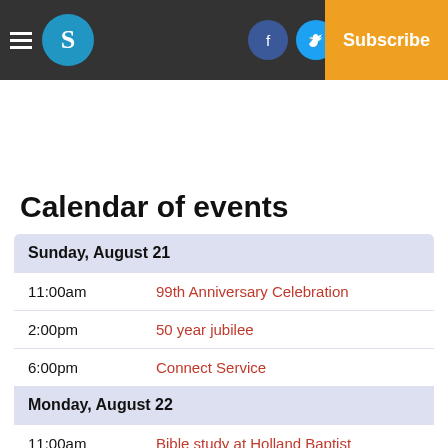Navigation bar with hamburger menu, S logo, Facebook, Twitter, Email icons, Log In, Subscribe
Calendar of events
| Time | Event |
| --- | --- |
| Sunday, August 21 |  |
| 11:00am | 99th Anniversary Celebration |
| 2:00pm | 50 year jubilee |
| 6:00pm | Connect Service |
| Monday, August 22 |  |
| 11:00am | Bible study at Holland Baptist |
| 6:00pm | Cancer Support Group |
| 6:30pm | Breast Cancer Support Group m |
| 7:00pm | Weight loss support group |